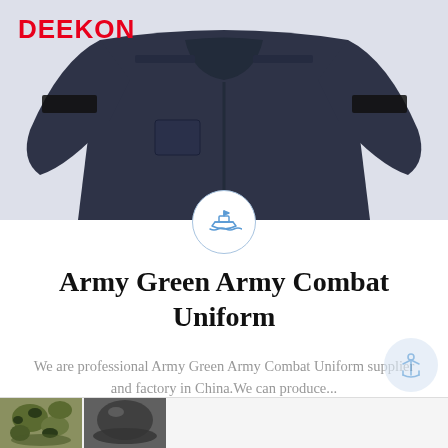[Figure (logo): DEEKON brand logo in red bold text, top left corner]
[Figure (photo): Dark navy blue army combat uniform jacket, front view, shown from shoulders up, displayed against a light gray background]
[Figure (illustration): Small circular ship/boat icon with light blue border, overlapping the bottom of the product photo]
Army Green Army Combat Uniform
We are professional Army Green Army Combat Uniform supplier and factory in China.We can produce...
[Figure (illustration): Anchor icon in a light blue circle, bottom right area]
[Figure (photo): Bottom strip showing partial thumbnails of two additional product images: camouflage pattern helmet on left, dark helmet on right]